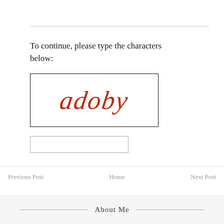To continue, please type the characters below:
[Figure (illustration): CAPTCHA image showing cursive red handwritten text 'adoby' inside a black bordered rectangle]
[Figure (other): Text input field (empty)]
Previous Post   Home   Next Post
About Me